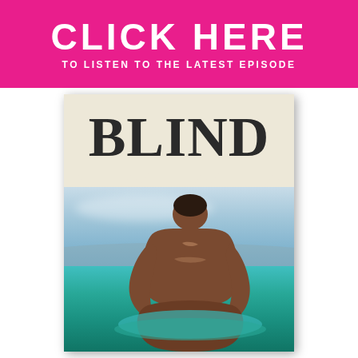CLICK HERE TO LISTEN TO THE LATEST EPISODE
[Figure (illustration): Book cover for 'BLIND' showing the word BLIND in large bold serif font on a cream/beige background at top, with a torn paper effect transitioning to a photograph of a shirtless man seen from behind sitting in turquoise ocean water with blue sky and distant mountains in the background.]